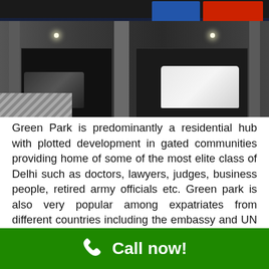[Figure (photo): Exterior photo of a multi-story building at night showing a dark facade with illuminated garage bays, a white car parked inside, advertising banners at the top, pillars, and striped flooring in the foreground.]
Green Park is predominantly a residential hub with plotted development in gated communities providing home of some of the most elite class of Delhi such as doctors, lawyers, judges, business people, retired army officials etc. Green park is also very popular among expatriates from different countries including the embassy and UN officials.  Because its adjoining the historically important Hauz Khas area, there is generally good upkeep of the area along with vast expanses of green spaces such as the Dear Park, rose
Call now!